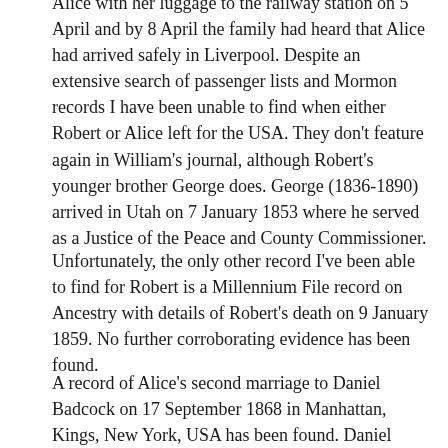Alice with her luggage to the railway station on 5 April and by 8 April the family had heard that Alice had arrived safely in Liverpool. Despite an extensive search of passenger lists and Mormon records I have been unable to find when either Robert or Alice left for the USA. They don't feature again in William's journal, although Robert's younger brother George does. George (1836-1890) arrived in Utah on 7 January 1853 where he served as a Justice of the Peace and County Commissioner.
Unfortunately, the only other record I've been able to find for Robert is a Millennium File record on Ancestry with details of Robert's death on 9 January 1859. No further corroborating evidence has been found.
A record of Alice's second marriage to Daniel Badcock on 17 September 1868 in Manhattan, Kings, New York, USA has been found. Daniel (born about 1834) had travelled to the USA sometime after he was made bankrupt on 30 May 1862.